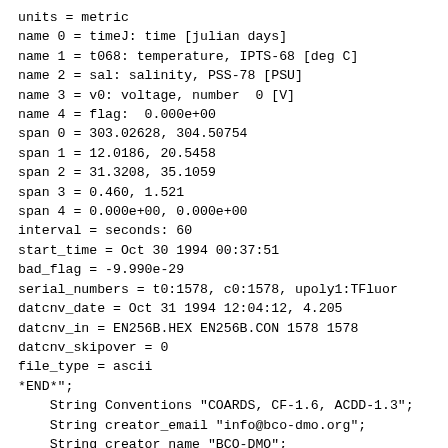units = metric
name 0 = timeJ: time [julian days]
name 1 = t068: temperature, IPTS-68 [deg C]
name 2 = sal: salinity, PSS-78 [PSU]
name 3 = v0: voltage, number  0 [V]
name 4 = flag:  0.000e+00
span 0 = 303.02628, 304.50754
span 1 = 12.0186, 20.5458
span 2 = 31.3208, 35.1059
span 3 = 0.460, 1.521
span 4 = 0.000e+00, 0.000e+00
interval = seconds: 60
start_time = Oct 30 1994 00:37:51
bad_flag = -9.990e-29
serial_numbers = t0:1578, c0:1578, upoly1:TFluor
datcnv_date = Oct 31 1994 12:04:12, 4.205
datcnv_in = EN256B.HEX EN256B.CON 1578 1578
datcnv_skipover = 0
file_type = ascii
*END*";
    String Conventions "COARDS, CF-1.6, ACDD-1.3";
    String creator_email "info@bco-dmo.org";
    String creator_name "BCO-DMO";
    String creator_type "institution";
    String creator_url "https://www.bco-dmo.org/";